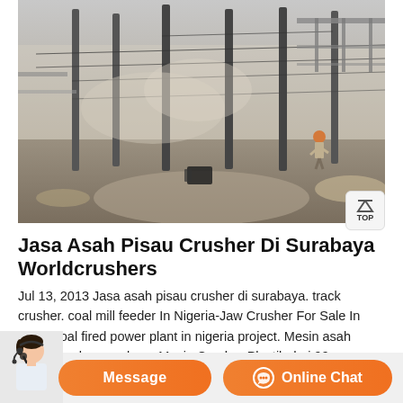[Figure (photo): Industrial construction site with tall metal poles/columns, dusty hazy atmosphere, a worker in an orange hard hat visible on the right, sandy ground, conveyor or structural steel frameworks in background.]
Jasa Asah Pisau Crusher Di Surabaya Worldcrushers
Jul 13, 2013 Jasa asah pisau crusher di surabaya. track crusher. coal mill feeder In Nigeria-Jaw Crusher For Sale In India. coal fired power plant in nigeria project. Mesin asah Pisau crusher surabaya Mesin Crusher Plastik dari 99 SURABAYA dijual di Indonetwork